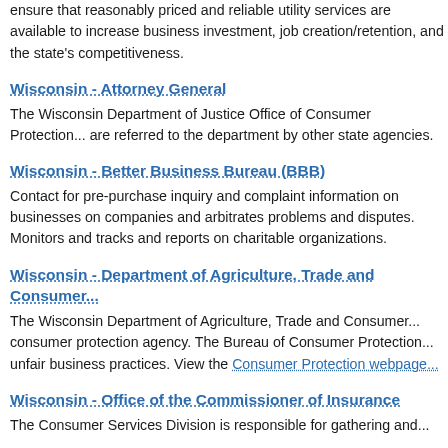ensure that reasonably priced and reliable utility services are available to increase business investment, job creation/retention, and the state's competitiveness.
Wisconsin - Attorney General
The Wisconsin Department of Justice Office of Consumer Protection... are referred to the department by other state agencies.
Wisconsin - Better Business Bureau (BBB)
Contact for pre-purchase inquiry and complaint information on businesses, on companies and arbitrates problems and disputes. Monitors and tracks and reports on charitable organizations.
Wisconsin - Department of Agriculture, Trade and Consumer...
The Wisconsin Department of Agriculture, Trade and Consumer... consumer protection agency. The Bureau of Consumer Protection... unfair business practices. View the Consumer Protection webpa...
Wisconsin - Office of the Commissioner of Insurance
The Consumer Services Division is responsible for gathering a...